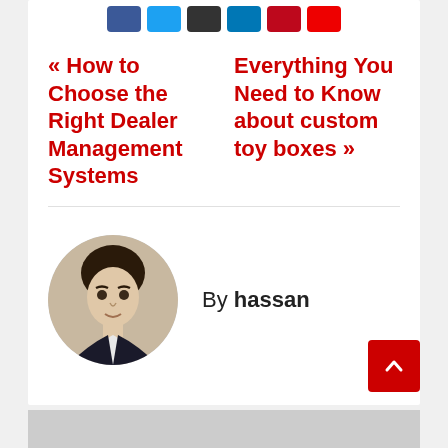[Figure (other): Social share buttons row: Facebook (blue), Twitter (light blue), black button, LinkedIn (blue), Pinterest (dark red), red button]
« How to Choose the Right Dealer Management Systems
Everything You Need to Know about custom toy boxes »
By hassan
[Figure (photo): Circular avatar photo of a young man in a dark suit with light shirt, smiling slightly]
RELATED POST